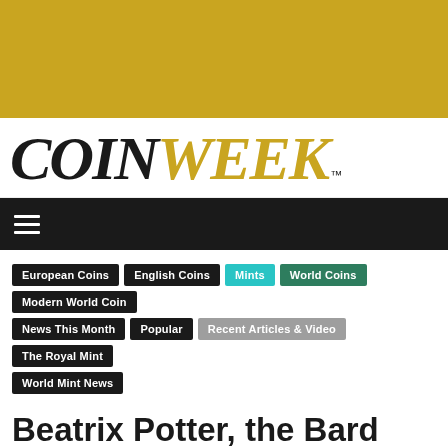[Figure (other): Gold/yellow banner background at top of page]
[Figure (logo): CoinWeek logo with COIN in black italic serif and WEEK in gold italic serif, with TM superscript]
[Figure (other): Black navigation bar with hamburger menu icon (three white horizontal lines)]
European Coins | English Coins | Mints | World Coins | Modern World Coin | News This Month | Popular | Recent Articles & Video | The Royal Mint | World Mint News
Beatrix Potter, the Bard and the Battle of Hastings: Royal